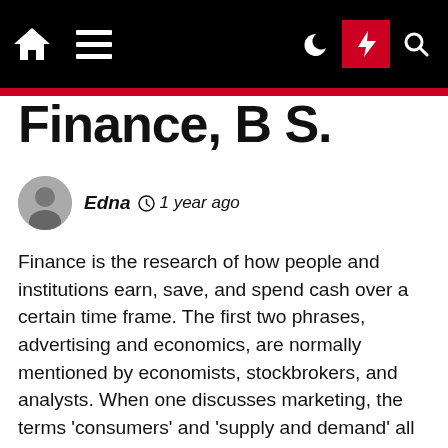Finance, B S.
Edna  1 year ago
Finance is the research of how people and institutions earn, save, and spend cash over a certain time frame. The first two phrases, advertising and economics, are normally mentioned by economists, stockbrokers, and analysts. When one discusses marketing, the terms 'consumers' and 'supply and demand' all the time come into play. Alumni Couple Champions Big Data Programs at Dickinson College The tech industry has seen several revolutions since Dave '74 and Sue Stebbins Souerwine '75 launched their careers. Solving Strategic Communications Challenges Former English and political science main Business & Finance Rachel Warzala Chesley '11